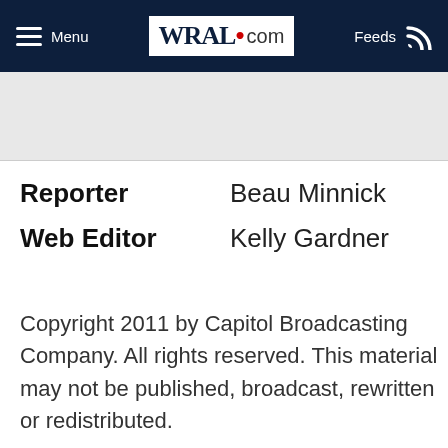Menu | WRAL.com | Feeds
Reporter    Beau Minnick
Web Editor  Kelly Gardner
Copyright 2011 by Capitol Broadcasting Company. All rights reserved. This material may not be published, broadcast, rewritten or redistributed.